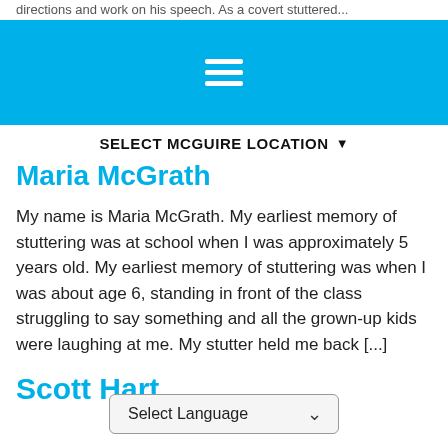directions and work on his speech. As a covert stuttered...
≡ (hamburger menu icon) SELECT MCGUIRE LOCATION ▾
Maria McGrath
My name is Maria McGrath. My earliest memory of stuttering was at school when I was approximately 5 years old. My earliest memory of stuttering was when I was about age 6, standing in front of the class struggling to say something and all the grown-up kids were laughing at me. My stutter held me back [...]
Scott Hart
Select Language ▾